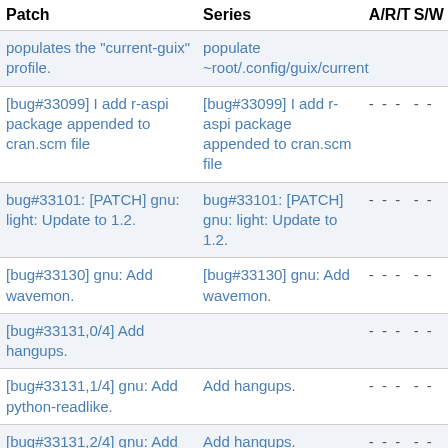| Patch | Series | A/R/T | S/W |
| --- | --- | --- | --- |
| populates the "current-guix" profile. | populate ~root/.config/guix/current |  |  |
| [bug#33099] I add r-aspi package appended to cran.scm file | [bug#33099] I add r-aspi package appended to cran.scm file | - - - | - - |
| bug#33101: [PATCH] gnu: light: Update to 1.2. | bug#33101: [PATCH] gnu: light: Update to 1.2. | - - - | - - |
| [bug#33130] gnu: Add wavemon. | [bug#33130] gnu: Add wavemon. | - - - | - - |
| [bug#33131,0/4] Add hangups. |  | - - - | - - |
| [bug#33131,1/4] gnu: Add python-readlike. | Add hangups. | - - - | - - |
| [bug#33131,2/4] gnu: Add python-reparser. | Add hangups. | - - - | - - |
| [bug#33131,3/4] gnu: Add python-mechanicalsoup. | Add hangups. | - - - | - - |
| [bug#33131,4/4] gnu: Add hangups. | Add hangups. | - - - | - - |
| [bug#33132] gnu: emacs- | [bug#33132] gnu: |  |  |